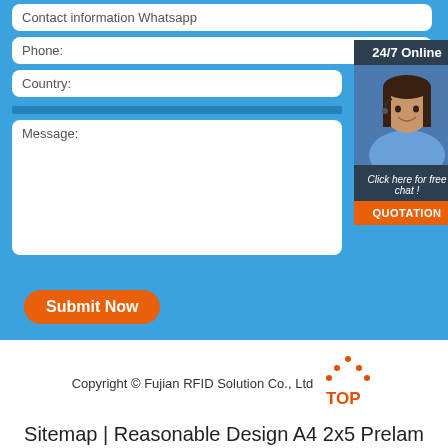Contact information Whatsapp
Phone:
Country:
[Figure (infographic): 24/7 Online chat widget with a customer service representative photo, 'Click here for free chat!' text, and an orange QUOTATION button]
Message:
Submit Now
Copyright © Fujian RFID Solution Co., Ltd
Sitemap | Reasonable Design A4 2x5 Prelam Smart Chip Cheap Rfid Sticker Tag Rewritable Small Nfc Hf